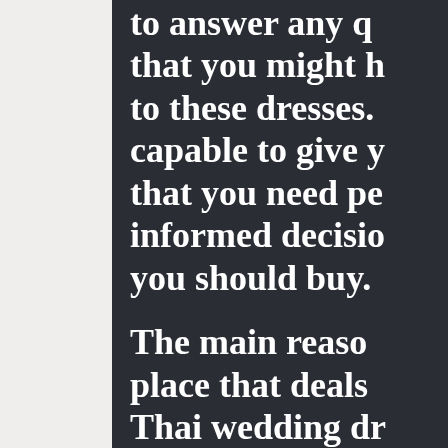to answer any questions that you might have to these dresses. They are capable to give you all that you need perfect informed decisions about you should buy. The main reason why a place that deals with Thai wedding dresses has wide range of these